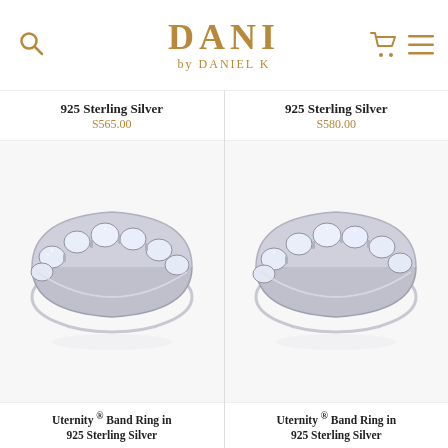DANI by DANIEL K
925 Sterling Silver
$565.00
925 Sterling Silver
$580.00
[Figure (photo): Uternity Band Ring in 925 Sterling Silver with round cubic zirconia stones set in silver prongs, full eternity band style]
[Figure (photo): Uternity Band Ring in 925 Sterling Silver with round cubic zirconia stones set in silver prongs, full eternity band style]
Uternity ® Band Ring in 925 Sterling Silver
Uternity ® Band Ring in 925 Sterling Silver